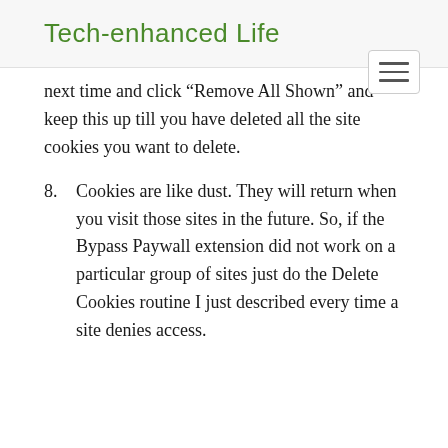Tech-enhanced Life
next time and click “Remove All Shown” and keep this up till you have deleted all the site cookies you want to delete.
8. Cookies are like dust. They will return when you visit those sites in the future. So, if the Bypass Paywall extension did not work on a particular group of sites just do the Delete Cookies routine I just described every time a site denies access.